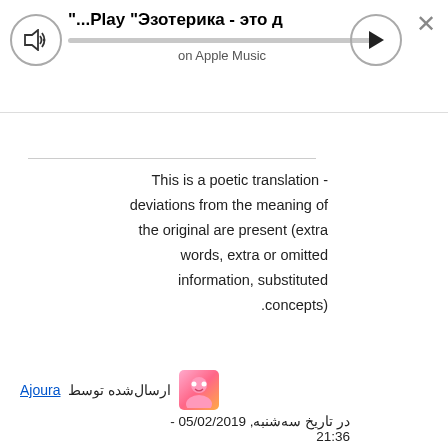[Figure (screenshot): Music player bar showing '...Play "Эзотерика - это д' with speaker icon, progress bar, play button, close button, and 'on Apple Music' label]
This is a poetic translation - deviations from the meaning of the original are present (extra words, extra or omitted information, substituted concepts).
ارسال‌شده توسط Ajoura در تاریخ سه‌شنبه, 05/02/2019 - 21:36
آخرین ویرایش توسط Ajoura در تاریخ سه‌شنبه, 12:38 - 02/07/2019